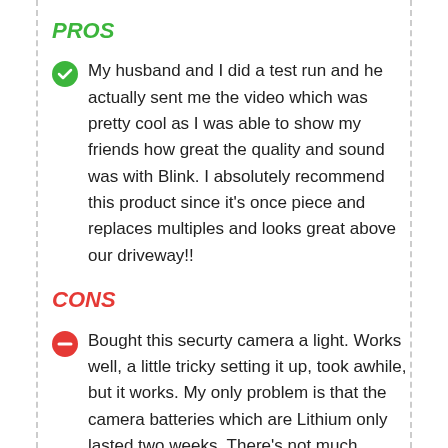PROS
My husband and I did a test run and he actually sent me the video which was pretty cool as I was able to show my friends how great the quality and sound was with Blink. I absolutely recommend this product since it's once piece and replaces multiples and looks great above our driveway!!
CONS
Bought this securty camera a light. Works well, a little tricky setting it up, took awhile, but it works. My only problem is that the camera batteries which are Lithium only lasted two weeks. There's not much activity where we live